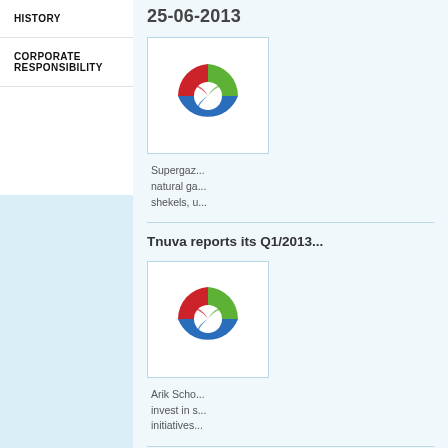HISTORY
CORPORATE RESPONSIBILITY
25-06-2013
[Figure (logo): Tnuva company logo — abstract circular shape with red, green, and blue segments]
Supergaz... natural ga... shekels, u...
Tnuva reports its Q1/2013...
[Figure (logo): Tnuva company logo — abstract circular shape with red, green, and blue segments]
Arik Scho... invest in s... initiatives...
Tnuva Group published t...